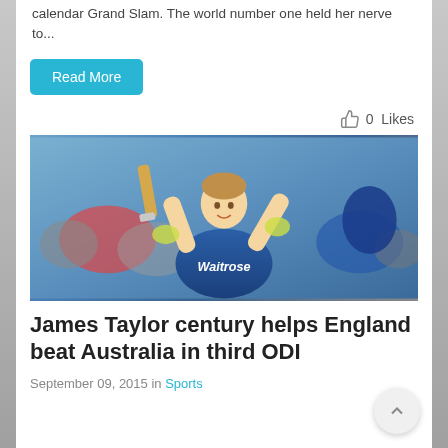calendar Grand Slam. The world number one held her nerve to...
Read More
0  Likes
[Figure (photo): Cricket player James Taylor in England blue jersey (Waitrose sponsor) celebrating with bat raised above head, crowd in background]
James Taylor century helps England beat Australia in third ODI
September 09, 2015 in Sports